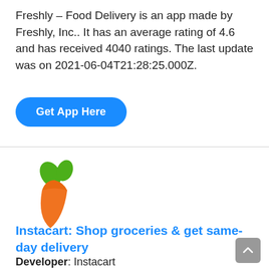Freshly – Food Delivery is an app made by Freshly, Inc.. It has an average rating of 4.6 and has received 4040 ratings. The last update was on 2021-06-04T21:28:25.000Z.
Get App Here
[Figure (logo): Instacart carrot logo: an orange carrot shape with two green leaf shapes on top]
Instacart: Shop groceries & get same-day delivery
Developer: Instacart